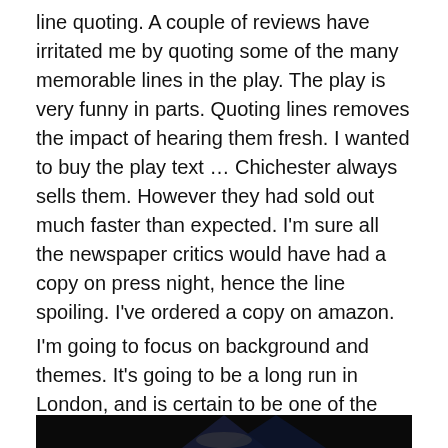line quoting. A couple of reviews have irritated me by quoting some of the many memorable lines in the play. The play is very funny in parts. Quoting lines removes the impact of hearing them fresh. I wanted to buy the play text … Chichester always sells them. However they had sold out much faster than expected. I'm sure all the newspaper critics would have had a copy on press night, hence the line spoiling. I've ordered a copy on amazon.
I'm going to focus on background and themes. It's going to be a long run in London, and is certain to be one of the Bridge's future NT Live transmissions.
[Figure (photo): A dark theatrical stage photo showing a performer under dramatic lighting against a geometric dark backdrop structure]